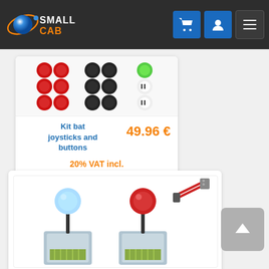SmallCab - 0 items in cart
[Figure (photo): Product image showing red, black, and green/white arcade buttons grouped together]
Kit bat joysticks and buttons
49.96 €
20% VAT incl.
In stock
Buy Now
[Figure (photo): Two joysticks with ball tops (light blue and red) on metal bases, with a wiring connector visible]